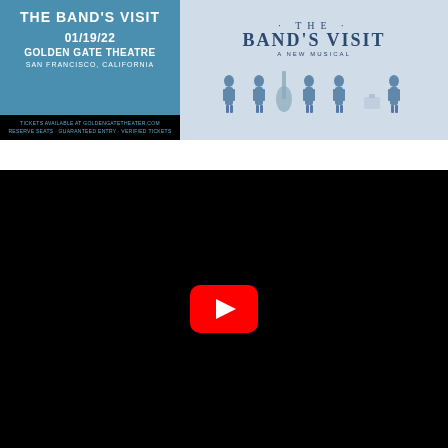[Figure (illustration): Event poster for The Band's Visit musical. Left panel: teal/blue background with white text showing title 'THE BAND'S VISIT', date '01/19/22', venue 'GOLDEN GATE THEATRE', location 'SAN FRANCISCO, CALIFORNIA', and black bottom strip with ticket info. Right panel: light blue background with artistic title 'THE BAND'S VISIT - A NEW MUSICAL' with illustrated band figures in blue uniforms.]
[Figure (screenshot): Black video player panel with YouTube play button (red rounded rectangle with white triangle) centered in the frame, indicating an embedded video.]